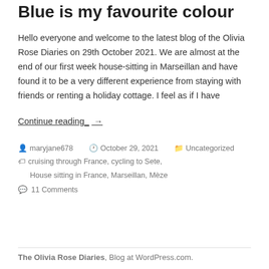Blue is my favourite colour
Hello everyone and welcome to the latest blog of the Olivia Rose Diaries on 29th October 2021. We are almost at the end of our first week house-sitting in Marseillan and have found it to be a very different experience from staying with friends or renting a holiday cottage. I feel as if I have
Continue reading →
maryjane678  October 29, 2021  Uncategorized  cruising through France, cycling to Sete, House sitting in France, Marseillan, Mèze  11 Comments
The Olivia Rose Diaries, Blog at WordPress.com.